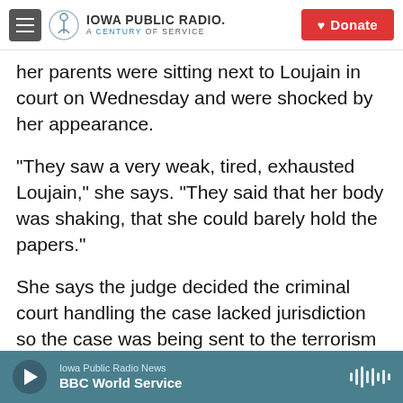Iowa Public Radio. A Century of Service | Donate
her parents were sitting next to Loujain in court on Wednesday and were shocked by her appearance.
"They saw a very weak, tired, exhausted Loujain," she says. "They said that her body was shaking, that she could barely hold the papers."
She says the judge decided the criminal court handling the case lacked jurisdiction so the case was being sent to the terrorism court instead.
Amnesty International called it a "disturbing move." Lynn Maalouf, the group's deputy regional director
Iowa Public Radio News | BBC World Service